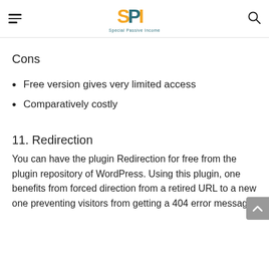SPI Special Passive Income
Cons
Free version gives very limited access
Comparatively costly
11. Redirection
You can have the plugin Redirection for free from the plugin repository of WordPress. Using this plugin, one benefits from forced direction from a retired URL to a new one preventing visitors from getting a 404 error message.